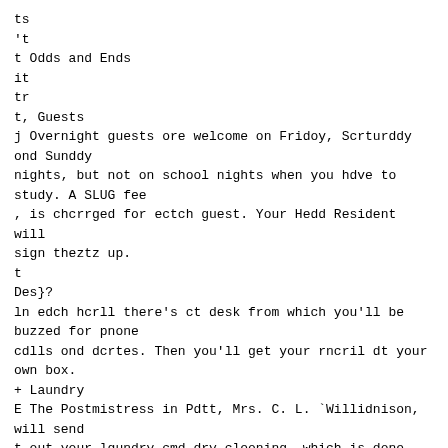ts
't
t Odds and Ends
it
tr
t, Guests
j Overnight guests ore welcome on Fridoy, Scrturddy ond Sunddy
nights, but not on school nights when you hdve to study. A SLUG fee
, is chcrrged for ectch guest. Your Hedd Resident will sign theztz up.
t
Des}?
ln edch hcrll there's ct desk from which you'll be buzzed for pnone
cdlls ond dcrtes. Then you'll get your rncril dt your own box.
+ Laundry
E The Postmistress in Pdtt, Mrs. C. L. `Willidnison, will send
t out your lgundry cmd dry-cleoning, which is done for you dt o
, speciol rote.

» 7
I

  4 .
Lost and Found